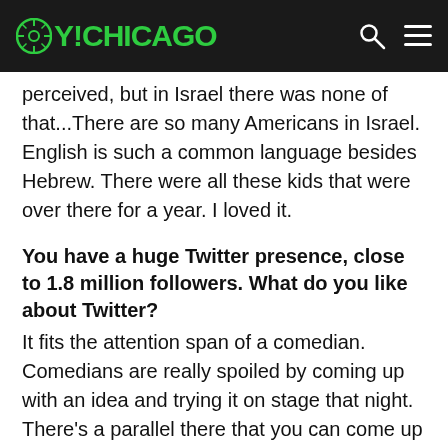OY!CHICAGO
perceived, but in Israel there was none of that...There are so many Americans in Israel. English is such a common language besides Hebrew. There were all these kids that were over there for a year. I loved it.
You have a huge Twitter presence, close to 1.8 million followers. What do you like about Twitter?
It fits the attention span of a comedian. Comedians are really spoiled by coming up with an idea and trying it on stage that night. There's a parallel there that you can come up with an idea and post it. I like Twitter because sometimes I come up with an idea, and it doesn't have to be a homerun because people aren't paying $40 [to read the tweets]. The other day I was at White Castle